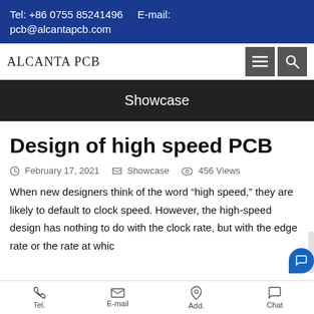Tel: +86 0755 85241496    E-mail: pcb@alcantapcb.com
[Figure (logo): ALCANTA PCB logo with navigation menu and search icons]
Showcase
Design of high speed PCB
February 17, 2021   Showcase   456 Views
When new designers think of the word “high speed,” they are likely to default to clock speed. However, the high-speed design has nothing to do with the clock rate, but with the edge rate or the rate at whic
Tel.   E-mail   Add.   Chat